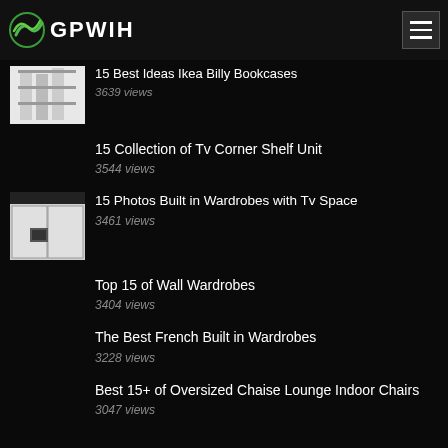GPWIH
15 Best Ideas Ikea Billy Bookcases
3639 views
15 Collection of Tv Corner Shelf Unit
3544 views
15 Photos Built in Wardrobes with Tv Space
3461 views
Top 15 of Wall Wardrobes
3404 views
The Best French Built in Wardrobes
3228 views
Best 15+ of Oversized Chaise Lounge Indoor Chairs
3047 views